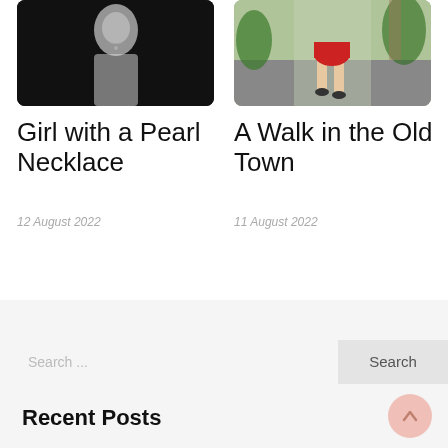[Figure (photo): Black and white photo of a woman in a white dress with a pearl necklace]
[Figure (photo): Color photo of a woman in a red outfit walking in an old town alleyway with plants]
Girl with a Pearl Necklace
A Walk in the Old Town
12 August 2022
11 August 2022
Search ...
Search
Recent Posts